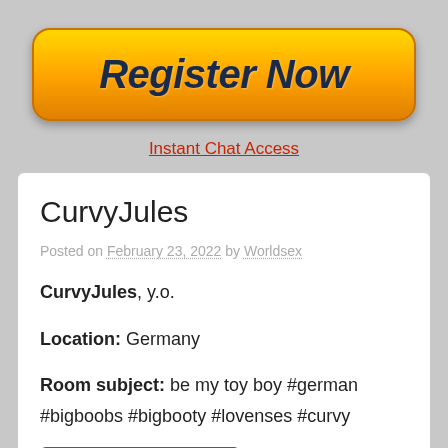[Figure (other): Orange gradient Register Now button with rounded corners and dark navy bold italic text]
Instant Chat Access
CurvyJules
Posted on February 23, 2022 by Worldsex
CurvyJules, y.o.
Location: Germany
Room subject: be my toy boy #german #bigboobs #bigbooty #lovenses #curvy